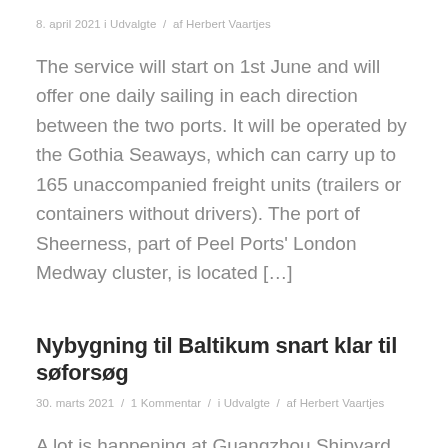8. april 2021 i Udvalgte  /  af Herbert Vaartjes
The service will start on 1st June and will offer one daily sailing in each direction between the two ports. It will be operated by the Gothia Seaways, which can carry up to 165 unaccompanied freight units (trailers or containers without drivers). The port of Sheerness, part of Peel Ports' London Medway cluster, is located [...]
Nybygning til Baltikum snart klar til søforsøg
30. marts 2021  /  1 Kommentar  /  i Udvalgte  /  af Herbert Vaartjes
A lot is happening at Guangzhou Shipyard International in China where our new combined